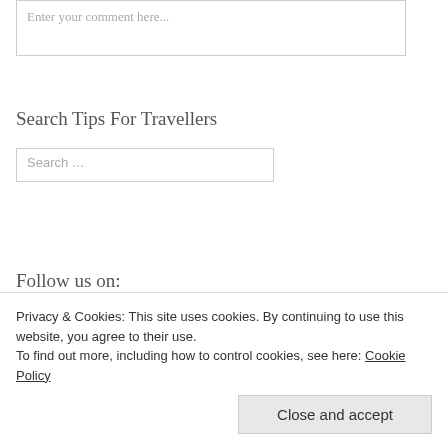Enter your comment here...
Search Tips For Travellers
Search …
Follow us on:
[Figure (other): Row of social media icons: Facebook, Twitter, LinkedIn, Flickr, Pinterest, YouTube, RSS]
Privacy & Cookies: This site uses cookies. By continuing to use this website, you agree to their use.
To find out more, including how to control cookies, see here: Cookie Policy
Close and accept